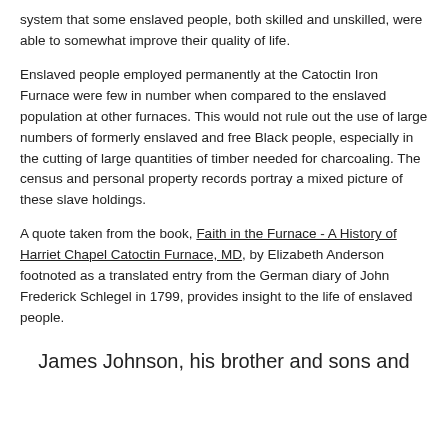system that some enslaved people, both skilled and unskilled, were able to somewhat improve their quality of life.
Enslaved people employed permanently at the Catoctin Iron Furnace were few in number when compared to the enslaved population at other furnaces. This would not rule out the use of large numbers of formerly enslaved and free Black people, especially in the cutting of large quantities of timber needed for charcoaling. The census and personal property records portray a mixed picture of these slave holdings.
A quote taken from the book, Faith in the Furnace - A History of Harriet Chapel Catoctin Furnace, MD, by Elizabeth Anderson footnoted as a translated entry from the German diary of John Frederick Schlegel in 1799, provides insight to the life of enslaved people.
James Johnson, his brother and sons and